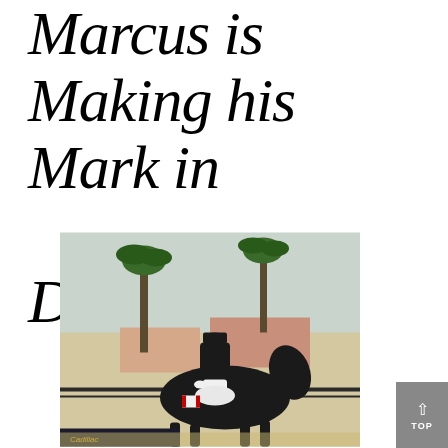Marcus is Making his Mark in Dressage
[Figure (photo): A dressage rider dressed in formal black attire and top hat riding a black horse in a competition arena with palm trees and buildings in the background. A Canadian flag is visible on the saddle pad and a Cadillac sponsor banner is in the background.]